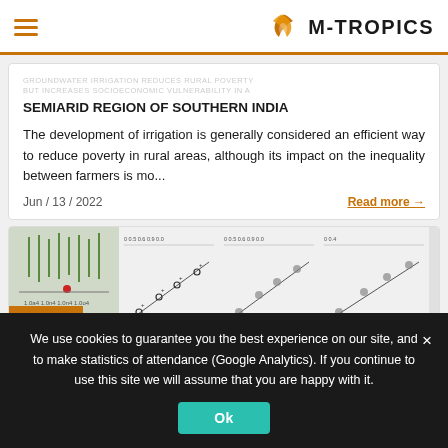M-TROPICS
GROUNDWATER IRRIGATION REDUCES RURAL POVERTY BUT INCREASES SOCIOECONOMIC VULNERABILITY IN A SEMIARID REGION OF SOUTHERN INDIA
The development of irrigation is generally considered an efficient way to reduce poverty in rural areas, although its impact on the inequality between farmers is mo...
Jun / 13 / 2022
Read more →
[Figure (screenshot): Partial view of a second article card with scatter plot figures and an ARTICLES badge]
We use cookies to guarantee you the best experience on our site, and to make statistics of attendance (Google Analytics). If you continue to use this site we will assume that you are happy with it.
Ok